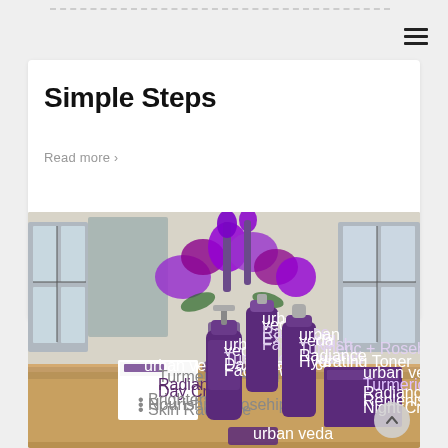Simple Steps
Read more >
[Figure (photo): Urban Veda skincare product line photographed on a wooden table with purple flowers in the background. Products include Radiance Day Cream, Daily Radiance Facial Wash, Radiance Hydrating Toner, Exfoliating Facial Polish, and Radiance Replenishing Night Cream — all in purple packaging.]